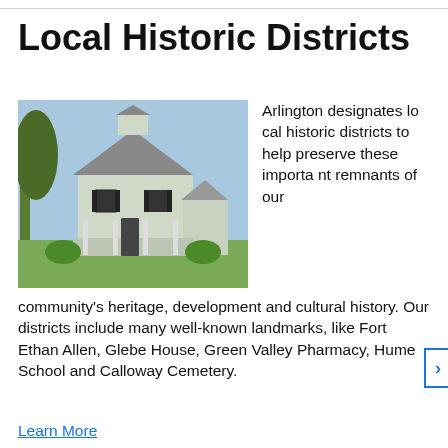Local Historic Districts
[Figure (photo): Photo of a large white historic octagonal house with wraparound porch, black shutters, and a cupola on top, surrounded by trees and lawn.]
Arlington designates local historic districts to help preserve these important remnants of our community's heritage, development and cultural history. Our districts include many well-known landmarks, like Fort Ethan Allen, Glebe House, Green Valley Pharmacy, Hume School and Calloway Cemetery.
Learn More